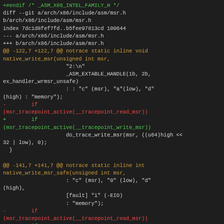diff --git a/arch/x86/include/asm/msr.h b/arch/x86/include/asm/msr.h
index 7dc1d8fef7fd..b5fee97813cd 100644
--- a/arch/x86/include/asm/msr.h
+++ b/arch/x86/include/asm/msr.h
@@ -122,7 +122,7 @@ notrace static inline void native_write_msr(unsigned int msr,
                    "2:\n"
                    _ASM_EXTABLE_HANDLE(1b, 2b, ex_handler_wrmsr_unsafe)
                    : : "c" (msr), "a"(low), "d"(high) : "memory");
-        if (msr_tracepoint_active(__tracepoint_read_msr))
+        if (msr_tracepoint_active(__tracepoint_write_msr))
                    do_trace_write_msr(msr, ((u64)high << 32 | low), 0);
    }

@@ -141,7 +141,7 @@ notrace static inline int native_write_msr_safe(unsigned int msr,
                    : "c" (msr), "0" (low), "d"(high),
                    [fault] "i" (-EIO)
                    : "memory");
-        if (msr_tracepoint_active(__tracepoint_read_msr))
+        if